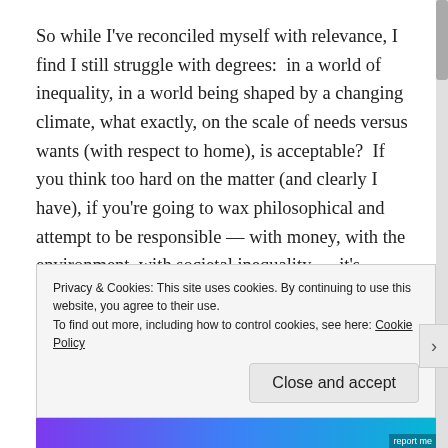So while I've reconciled myself with relevance, I find I still struggle with degrees:  in a world of inequality, in a world being shaped by a changing climate, what exactly, on the scale of needs versus wants (with respect to home), is acceptable?  If you think too hard on the matter (and clearly I have), if you're going to wax philosophical and attempt to be responsible — with money, with the environment, with societal inequality — it's altogether likely that you're going to find yourself sucked into a vortex of
Privacy & Cookies: This site uses cookies. By continuing to use this website, you agree to their use.
To find out more, including how to control cookies, see here: Cookie Policy
Close and accept